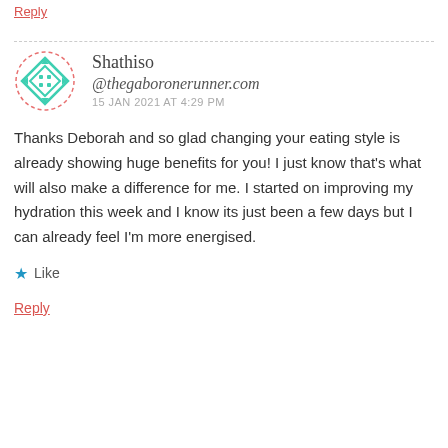Reply
[Figure (illustration): Circular avatar icon with green geometric diamond/compass shape on white background, surrounded by a dashed red/pink circular border]
Shathiso
@thegaboronerunner.com
15 JAN 2021 AT 4:29 PM
Thanks Deborah and so glad changing your eating style is already showing huge benefits for you! I just know that’s what will also make a difference for me. I started on improving my hydration this week and I know its just been a few days but I can already feel I’m more energised.
★ Like
Reply